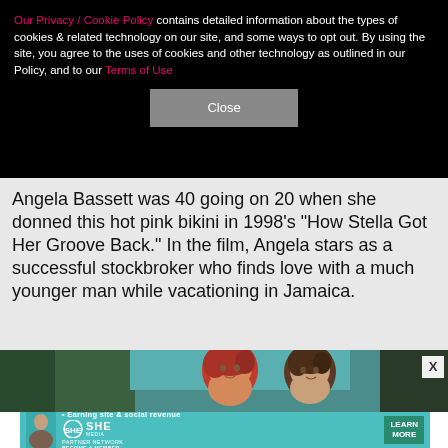Our Privacy / Cookie Policy contains detailed information about the types of cookies & related technology on our site, and some ways to opt out. By using the site, you agree to the uses of cookies and other technology as outlined in our Policy, and to our Terms of Use
Angela Bassett was 40 going on 20 when she donned this hot pink bikini in 1998's "How Stella Got Her Groove Back." In the film, Angela stars as a successful stockbroker who finds love with a much younger man while vacationing in Jamaica.
[Figure (photo): Two women with red/auburn and brown hair in an outdoor scene with greenery in background]
[Figure (infographic): SHE Media Partner Network advertisement banner with tagline 'Earning site & social revenue' and 'Learn More' button]